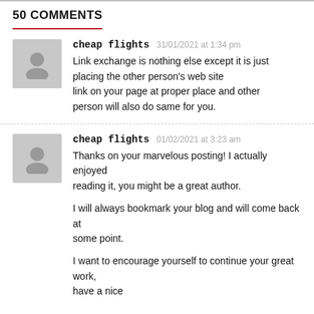50 COMMENTS
cheap flights  31/01/2021 at 1:34 pm
Link exchange is nothing else except it is just placing the other person's web site link on your page at proper place and other person will also do same for you.
cheap flights  01/02/2021 at 3:23 am
Thanks on your marvelous posting! I actually enjoyed reading it, you might be a great author.

I will always bookmark your blog and will come back at some point.

I want to encourage yourself to continue your great work, have a nice